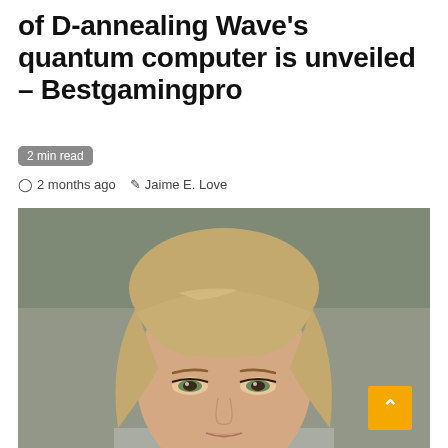of D-annealing Wave's quantum computer is unveiled – Bestgamingpro
2 min read
2 months ago   Jaime E. Love
[Figure (photo): Close-up portrait photo of a young woman with straight blonde hair with bangs, looking directly at the camera with a neutral expression, set against a blurred outdoor background.]